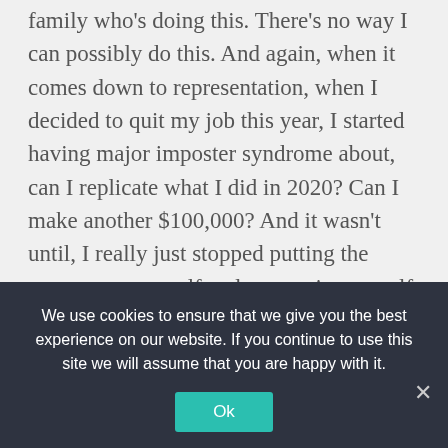family who's doing this. There's no way I can possibly do this. And again, when it comes down to representation, when I decided to quit my job this year, I started having major imposter syndrome about, can I replicate what I did in 2020? Can I make another $100,000? And it wasn't until, I really just stopped putting the pressure on myself and comparing myself to all these other people. These internet millionaires, like I made a million dollars this month. And just, you almost have to put blinders on at some point. You have to put the horse blinders on and really just focus on what you're doing.
We use cookies to ensure that we give you the best experience on our website. If you continue to use this site we will assume that you are happy with it.